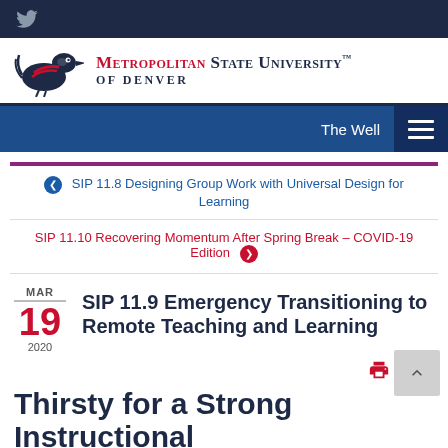Metropolitan State University of Denver — The Well
[Figure (logo): Metropolitan State University of Denver logo with roadrunner bird mascot and university name in red and navy]
The Well
❮ SIP 11.8 Designing Group Work with Universal Design for Learning
SIP 11.10 Recovering Momentum After Spring Break – COVID-19 Edition ❯
SIP 11.9 Emergency Transitioning to Remote Teaching and Learning
MAR 19 2020
Thirsty for a Strong Instructional